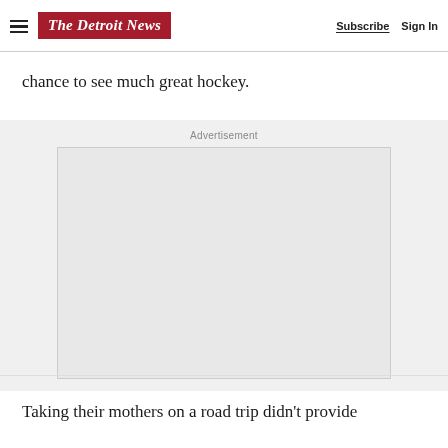The Detroit News | Subscribe | Sign In
chance to see much great hockey.
Advertisement
[Figure (other): Empty advertisement placeholder box with light gray background and border]
Taking their mothers on a road trip didn’t provide